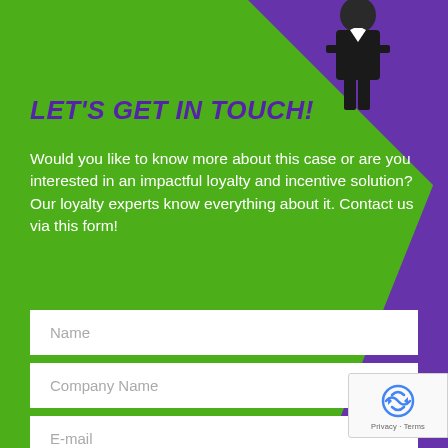LET'S GET IN TOUCH!
Would you like to know more about this case or are you interested in an impactful loyalty and incentive solution? Our loyalty experts know everything about it. Contact us via this form!
Name
Company Name
E-mail
Phone number
Short explanation